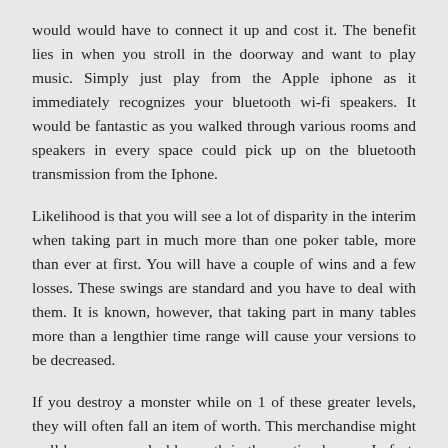would would have to connect it up and cost it. The benefit lies in when you stroll in the doorway and want to play music. Simply just play from the Apple iphone as it immediately recognizes your bluetooth wi-fi speakers. It would be fantastic as you walked through various rooms and speakers in every space could pick up on the bluetooth transmission from the Iphone.
Likelihood is that you will see a lot of disparity in the interim when taking part in much more than one poker table, more than ever at first. You will have a couple of wins and a few losses. These swings are standard and you have to deal with them. It is known, however, that taking part in many tables more than a lengthier time range will cause your versions to be decreased.
If you destroy a monster while on 1 of these greater levels, they will often fall an item of worth. This merchandise might well have some saleable worth in the auction homes. In fact, since you can discover out what is